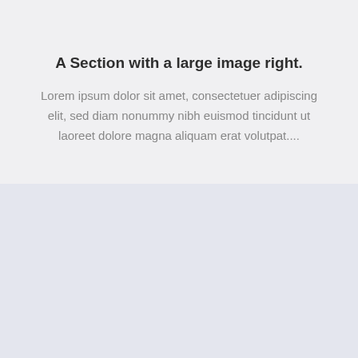A Section with a large image right.
Lorem ipsum dolor sit amet, consectetuer adipiscing elit, sed diam nonummy nibh euismod tincidunt ut laoreet dolore magna aliquam erat volutpat....
[Figure (other): Large image placeholder area with light blue-grey background]